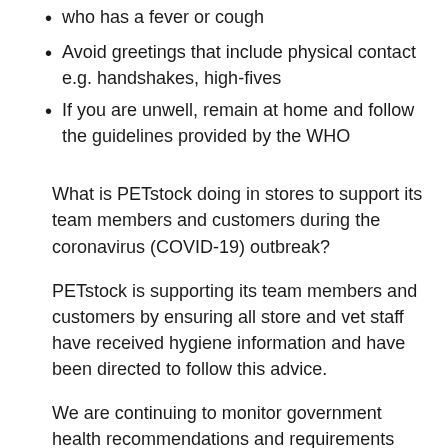who has a fever or cough
Avoid greetings that include physical contact e.g. handshakes, high-fives
If you are unwell, remain at home and follow the guidelines provided by the WHO
What is PETstock doing in stores to support its team members and customers during the coronavirus (COVID-19) outbreak?
PETstock is supporting its team members and customers by ensuring all store and vet staff have received hygiene information and have been directed to follow this advice.
We are continuing to monitor government health recommendations and requirements and have reviewed and updated operational procedures were required to ensure stores can continue to operate at the highest standards in